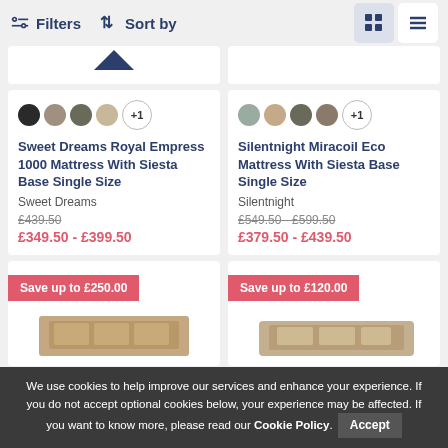Filters  Sort by
Sweet Dreams Royal Empress 1000 Mattress With Siesta Base Single Size
Sweet Dreams
£439.50
£349.50 - £399.50
Silentnight Miracoil Eco Mattress With Siesta Base Single Size
Silentnight
£549.50 - £599.50
£379.50 - £439.50
Save up to £250.00
Save up to £120.00
We use cookies to help improve our services and enhance your experience. If you do not accept optional cookies below, your experience may be affected. If you want to know more, please read our Cookie Policy. Accept